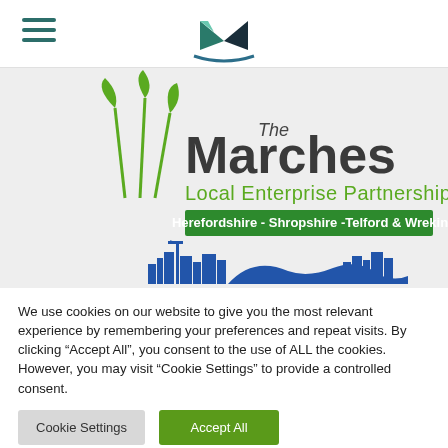[Figure (logo): Hamburger menu icon (three horizontal lines in teal/dark green) on the left, and a stylized M logo for The Marches LEP on the right center of the top navigation bar]
[Figure (logo): The Marches Local Enterprise Partnership logo with green grass/reed graphic, large 'The Marches' text, 'Local Enterprise Partnership' subtitle, and green banner reading 'Herefordshire - Shropshire -Telford & Wrekin', plus a blue city skyline silhouette below]
We use cookies on our website to give you the most relevant experience by remembering your preferences and repeat visits. By clicking "Accept All", you consent to the use of ALL the cookies. However, you may visit "Cookie Settings" to provide a controlled consent.
Cookie Settings | Accept All